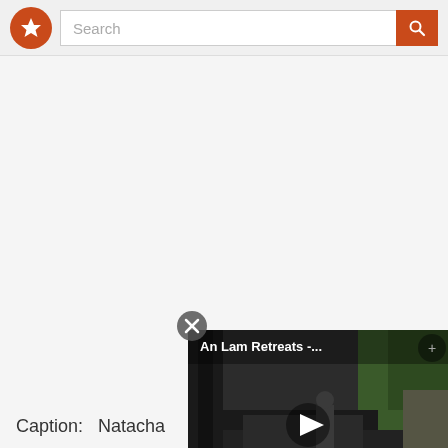Search
[Figure (screenshot): Video thumbnail showing 'An Lam Retreats -...' with a play button overlay, depicting a dark path with trees and a person]
Caption:   Natacha